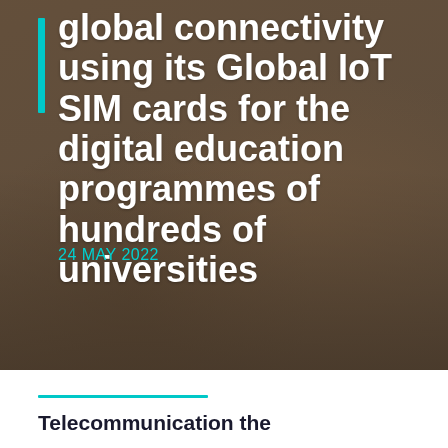[Figure (photo): Photo of students sitting on steps, viewed from above showing their feet and hands holding devices/papers, dark warm-toned background]
global connectivity using its Global IoT SIM cards for the digital education programmes of hundreds of universities
24 MAY 2022
Telecommunication the